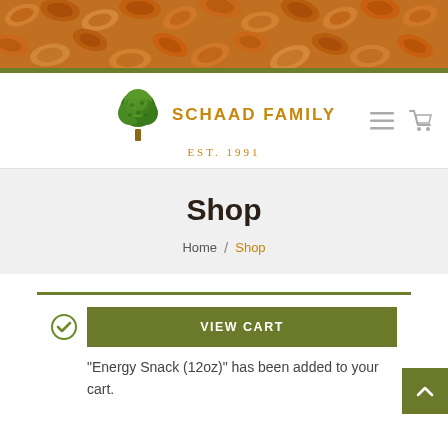[Figure (photo): Close-up photo of raw almonds filling the entire banner area]
[Figure (logo): Schaad Family logo with a green illustrated tree and orange/gold arc text reading SCHAAD FAMILY, EST. 1991]
Shop
Home / Shop
"Energy Snack (12oz)" has been added to your cart.